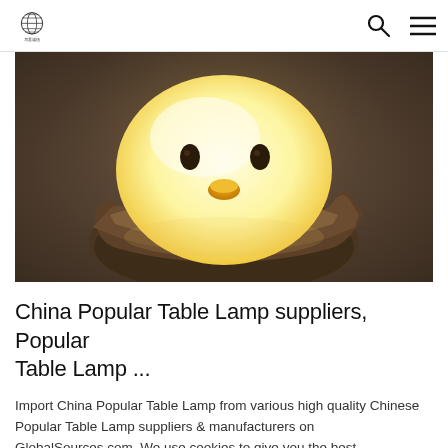[Logo: GlobalSources globe icon] [Search icon] [Menu icon]
[Figure (photo): Close-up photo of a cute chick-shaped LED night lamp glowing warm yellow-white, sitting inside a dark brown egg shell base, placed on a knitted fabric surface]
China Popular Table Lamp suppliers, Popular Table Lamp ...
Import China Popular Table Lamp from various high quality Chinese Popular Table Lamp suppliers & manufacturers on GlobalSources.com. We use cookies to give you the best